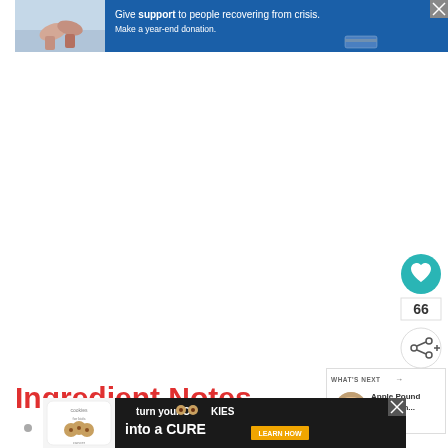[Figure (screenshot): Advertisement banner at top: blue background with image of two people holding hands and text 'Give support to people recovering from crisis. Make a year-end donation.' with credit card icon and close button.]
[Figure (infographic): Social sharing sidebar buttons: teal heart/favorite button with count 66, and share button below.]
[Figure (screenshot): What's Next panel showing Apple Pound Cake thumbnail and title.]
Ingredient Notes
[Figure (screenshot): Bottom advertisement banner: 'cookies for kids cancer - turn your COOKIES into a CURE LEARN HOW' with close button.]